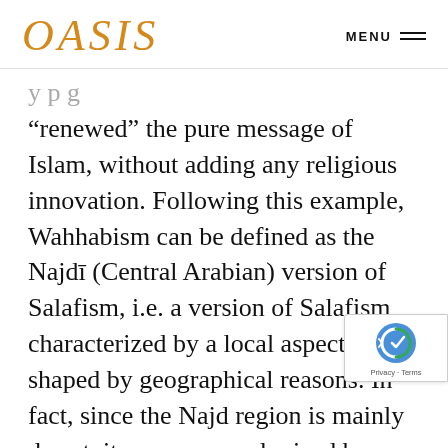OASIS   MENU
“renewed” the pure message of Islam, without adding any religious innovation. Following this example, Wahhabism can be defined as the Najdī (Central Arabian) version of Salafism, i.e. a version of Salafism characterized by a local aspect, shaped by geographical reasons. In fact, since the Najd region is mainly desert, it was never colonized by